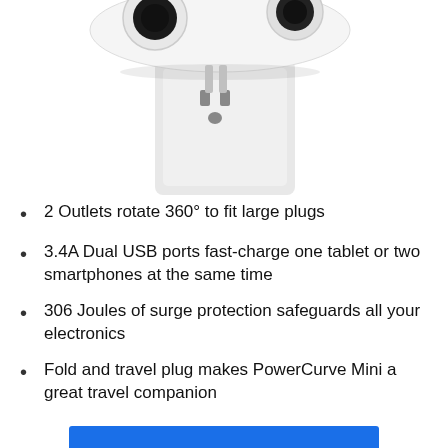[Figure (photo): White USB wall charger/surge protector with rotating outlets plugged into a wall outlet, viewed from above/front angle showing two USB ports on top]
2 Outlets rotate 360° to fit large plugs
3.4A Dual USB ports fast-charge one tablet or two smartphones at the same time
306 Joules of surge protection safeguards all your electronics
Fold and travel plug makes PowerCurve Mini a great travel companion